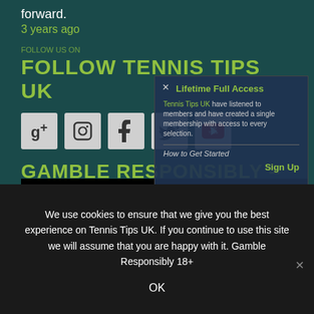forward.
3 years ago
FOLLOW TENNIS TIPS UK
[Figure (screenshot): Five social media icon buttons: Google+, Instagram, Pinterest, Twitter, YouTube]
GAMBLE RESPONSIBLY – 18+
[Figure (screenshot): GambleAware.co.uk banner with 18+ badge and 'FOR THE FACTS ABOUT GAMBLING' text]
[Figure (screenshot): Overlay popup showing Lifetime Full Access membership offer with Sign Up button]
We use cookies to ensure that we give you the best experience on Tennis Tips UK. If you continue to use this site we will assume that you are happy with it. Gamble Responsibly 18+
OK